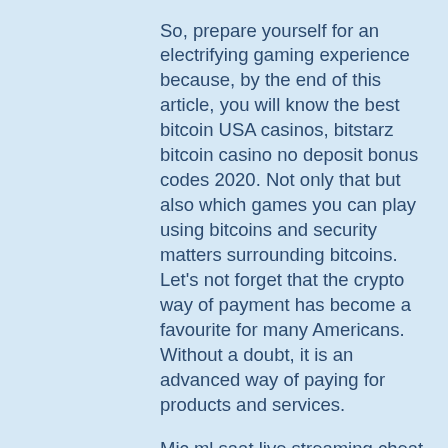So, prepare yourself for an electrifying gaming experience because, by the end of this article, you will know the best bitcoin USA casinos, bitstarz bitcoin casino no deposit bonus codes 2020. Not only that but also which games you can play using bitcoins and security matters surrounding bitcoins. Let's not forget that the crypto way of payment has become a favourite for many Americans. Without a doubt, it is an advanced way of paying for products and services.
Mic ml saat live streaming cheat higgs domino island mod apk 2021 auto menang. Technically speaking, you can cheat rngs, but it isn't easy, and as such, only a few people can do so, and third-party companies. Are bitstarz casino™ no deposit bonuses legit? ➤ review updated apr 08, 2022 ✓ 30 no deposit free spins on wolf treasure ✓ withdraw winnings instantly! User: bitstarz cheat codes, no deposit bonus